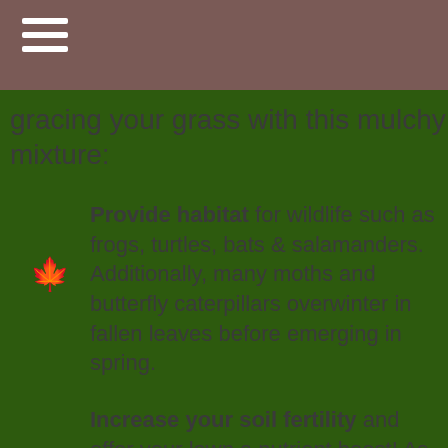☰
gracing your grass with this mulchy mixture:
Provide habitat for wildlife such as frogs, turtles, bats & salamanders. Additionally, many moths and butterfly caterpillars overwinter in fallen leaves before emerging in spring.
Increase your soil fertility and offer your lawn a nutrient boost! As leaves decompose, nutrients such as carbon, nitrogen, and potassium are added to the soil.